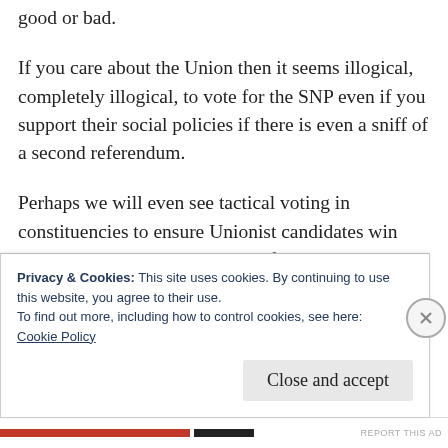good or bad.
If you care about the Union then it seems illogical, completely illogical, to vote for the SNP even if you support their social policies if there is even a sniff of a second referendum.
Perhaps we will even see tactical voting in constituencies to ensure Unionist candidates win and the vote is not split three or four ways.  Moreover, even one day we could see
Privacy & Cookies: This site uses cookies. By continuing to use this website, you agree to their use.
To find out more, including how to control cookies, see here:
Cookie Policy
Close and accept